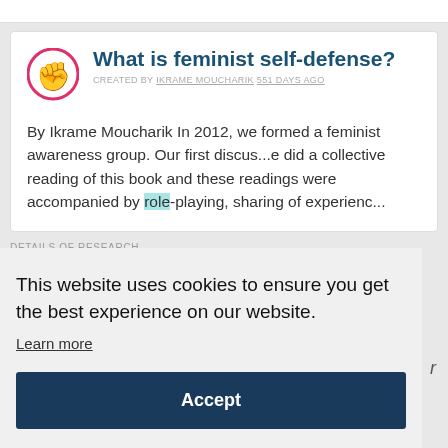What is feminist self-defense?
CREATED BY IKRAME MOUCHARIK 551 DAYS AGO
By Ikrame Moucharik In 2012, we formed a feminist awareness group. Our first discus...e did a collective reading of this book and these readings were accompanied by role-playing, sharing of experienc...
DETAILS OF RESEARCH
This website uses cookies to ensure you get the best experience on our website.
Learn more
Accept